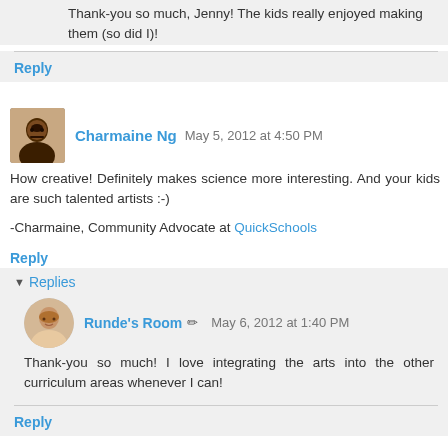Thank-you so much, Jenny! The kids really enjoyed making them (so did I)!
Reply
Charmaine Ng  May 5, 2012 at 4:50 PM
How creative! Definitely makes science more interesting. And your kids are such talented artists :-)
-Charmaine, Community Advocate at QuickSchools
Reply
Replies
Runde's Room  May 6, 2012 at 1:40 PM
Thank-you so much! I love integrating the arts into the other curriculum areas whenever I can!
Reply